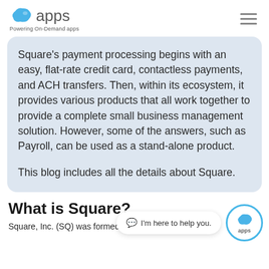apps — Powering On-Demand apps
Square's payment processing begins with an easy, flat-rate credit card, contactless payments, and ACH transfers. Then, within its ecosystem, it provides various products that all work together to provide a complete small business management solution. However, some of the answers, such as Payroll, can be used as a stand-alone product.

This blog includes all the details about Square.
What is Square?
Square, Inc. (SQ) was formed in 2009 by